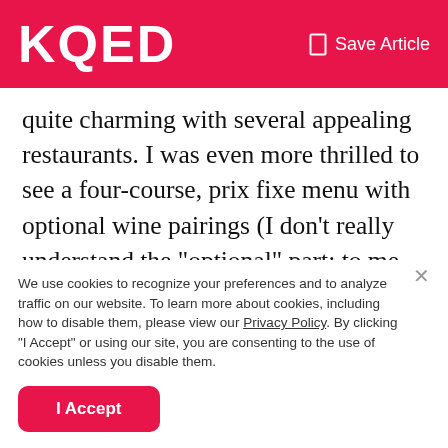KQED | Save Article
quite charming with several appealing restaurants. I was even more thrilled to see a four-course, prix fixe menu with optional wine pairings (I don't really understand the “optional” part; to me wine pairings are mandatory). My companion chose to order the same number of items, but off the general menu (also with wine). I realized this could become fairly complicated for the server to manage, and I was right. While I felt we were incredibly patient and forgiving, the clumsy service did overshadow the good food
We use cookies to recognize your preferences and to analyze traffic on our website. To learn more about cookies, including how to disable them, please view our Privacy Policy. By clicking “I Accept” or using our site, you are consenting to the use of cookies unless you disable them.
I Accept